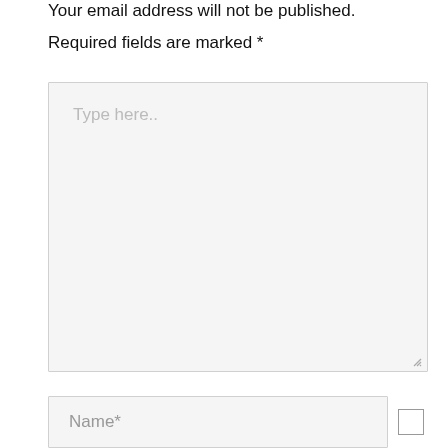Your email address will not be published.
Required fields are marked *
[Figure (other): Large text input textarea with placeholder text 'Type here..' and a resize handle at the bottom right corner]
[Figure (other): Name input field with label 'Name*' and a checkbox to the right]